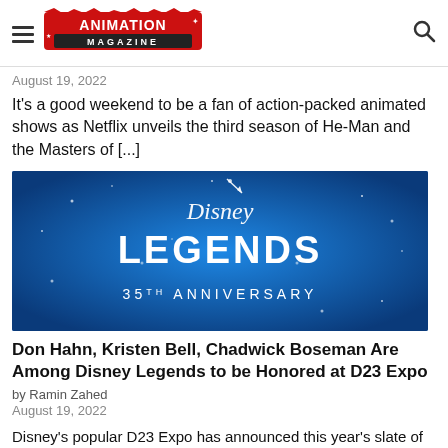Animation Magazine
August 19, 2022
It's a good weekend to be a fan of action-packed animated shows as Netflix unveils the third season of He-Man and the Masters of [...]
[Figure (photo): Disney Legends 35th Anniversary logo on a blue sparkled background]
Don Hahn, Kristen Bell, Chadwick Boseman Are Among Disney Legends to be Honored at D23 Expo
by Ramin Zahed
August 19, 2022
Disney's popular D23 Expo has announced this year's slate of Disney Legends which will be honored at a special